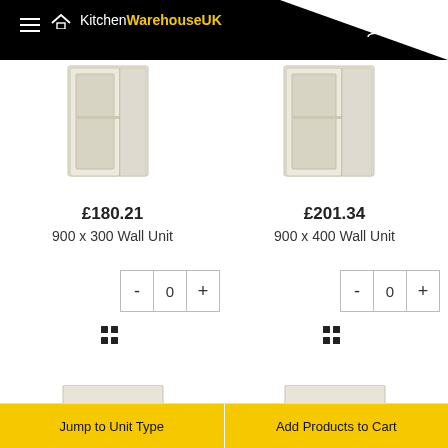KitchenWarehouseUK
[Figure (photo): Kitchen wall unit cabinet with open door, cream/off-white finish, two shelves visible - 900x300 Wall Unit]
£180.21
900 x 300 Wall Unit
[Figure (photo): Kitchen wall unit cabinet with open door, cream/off-white finish, two shelves visible - 900x400 Wall Unit]
£201.34
900 x 400 Wall Unit
[Figure (photo): Partial view of bottom kitchen unit, cream/off-white finish]
[Figure (photo): Partial view of bottom kitchen unit, cream/off-white finish]
Jump to Unit Type
Add Products to Cart